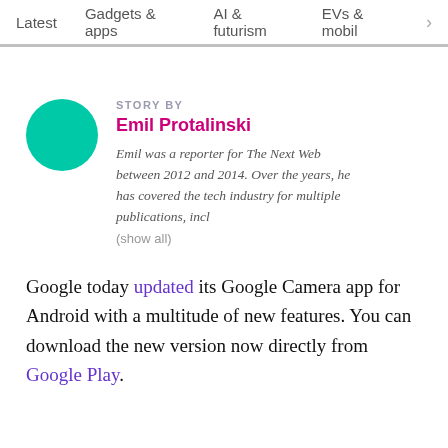Latest   Gadgets & apps   AI & futurism   EVs & mobil  >
STORY BY
Emil Protalinski
Emil was a reporter for The Next Web between 2012 and 2014. Over the years, he has covered the tech industry for multiple publications, incl
(show all)
Google today updated its Google Camera app for Android with a multitude of new features. You can download the new version now directly from Google Play.